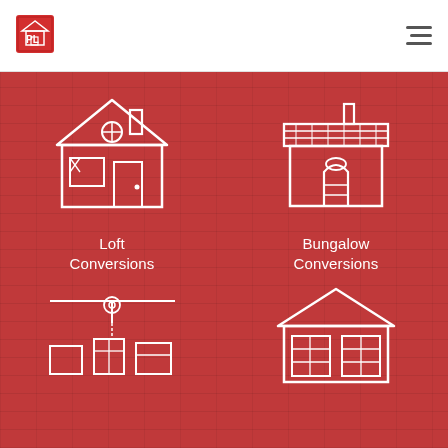PL logo and navigation menu
[Figure (illustration): White outline icon of a house with circular attic window, chimney, main window and door on red background — Loft Conversions]
Loft Conversions
[Figure (illustration): White outline icon of a bungalow with tiled roof, chimney, arched door and oval window on red background — Bungalow Conversions]
Bungalow Conversions
[Figure (illustration): White outline icon of construction crane/hoist with building equipment on red background (partially visible)]
[Figure (illustration): White outline icon of a detached house/garage on red background (partially visible)]